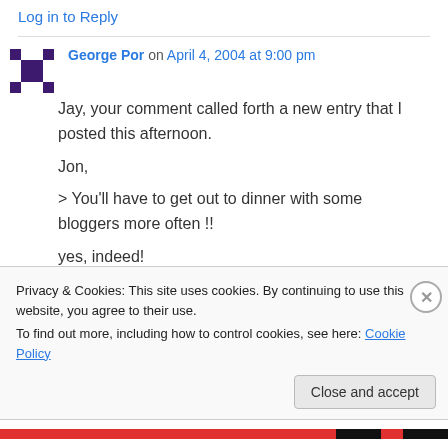Log in to Reply
George Por on April 4, 2004 at 9:00 pm
Jay, your comment called forth a new entry that I posted this afternoon.

Jon,

> You'll have to get out to dinner with some bloggers more often !!

yes, indeed!
Privacy & Cookies: This site uses cookies. By continuing to use this website, you agree to their use.
To find out more, including how to control cookies, see here: Cookie Policy
Close and accept